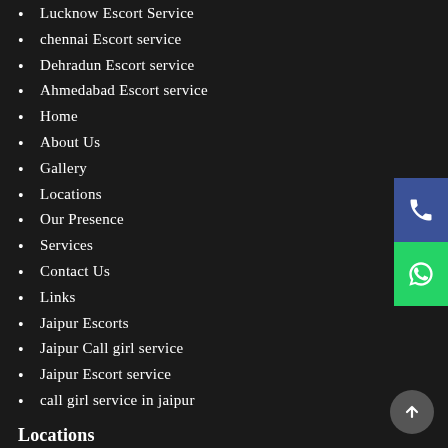Lucknow Escort Service
chennai Escort service
Dehradun Escort service
Ahmedabad Escort service
Home
About Us
Gallery
Locations
Our Presence
Services
Contact Us
Links
Jaipur Escorts
Jaipur Call girl service
Jaipur Escort service
call girl service in jaipur
Locations
Vidhyadhar Nagar Escort
Vaishali Nagar Escort